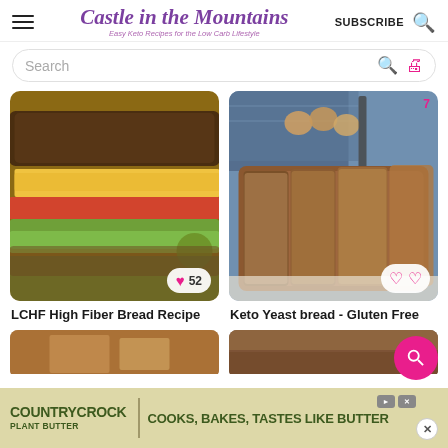Castle in the Mountains - Easy Keto Recipes for the Low Carb Lifestyle | SUBSCRIBE
Search
[Figure (photo): LCHF sandwich with dark bread, cheese, tomato, lettuce on a wooden board]
52
LCHF High Fiber Bread Recipe
[Figure (photo): Sliced keto yeast bread loaf on a white surface with eggs and knife in background]
Keto Yeast bread - Gluten Free
[Figure (photo): Partial view of another recipe photo at bottom left]
[Figure (photo): Partial view of another recipe photo at bottom right]
COUNTRYCROCK PLANT BUTTER COOKS, BAKES, TASTES LIKE BUTTER